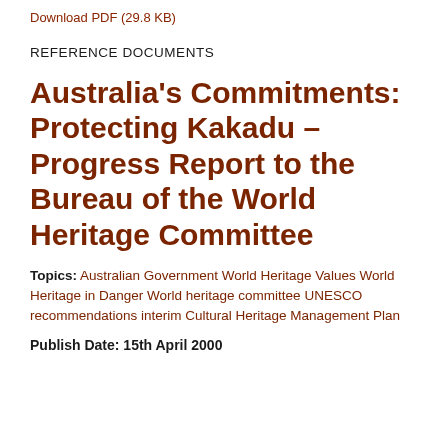Download PDF (29.8 KB)
REFERENCE DOCUMENTS
Australia's Commitments: Protecting Kakadu – Progress Report to the Bureau of the World Heritage Committee
Topics: Australian Government World Heritage Values World Heritage in Danger World heritage committee UNESCO recommendations interim Cultural Heritage Management Plan
Publish Date: 15th April 2000